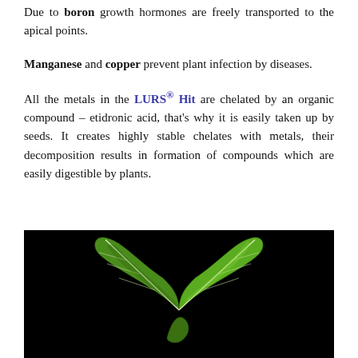Due to boron growth hormones are freely transported to the apical points.
Manganese and copper prevent plant infection by diseases.
All the metals in the LURS® Hit are chelated by an organic compound – etidronic acid, that's why it is easily taken up by seeds. It creates highly stable chelates with metals, their decomposition results in formation of compounds which are easily digestible by plants.
[Figure (photo): A green leaf with white veins photographed against a black background, appearing to curl or fold dramatically.]